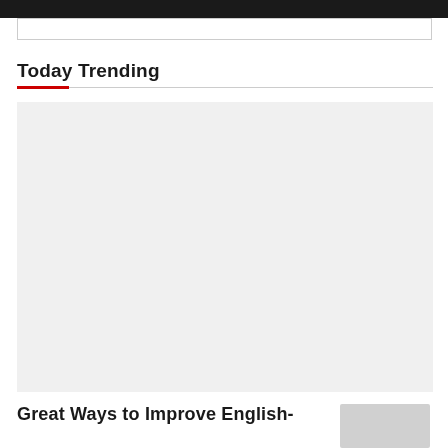Today Trending
[Figure (photo): Large placeholder image area with light gray background]
Great Ways to Improve English-